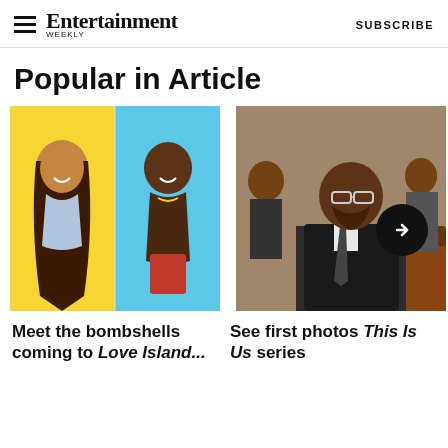Entertainment Weekly — SUBSCRIBE
Popular in Article
[Figure (photo): Two people side by side: a woman in a bikini with long braided hair and a man shirtless in red shorts, both smiling against a colorful tropical background — Love Island USA cast photo]
Meet the bombshells coming to Love Island...
[Figure (photo): A man in a suit and glasses sitting in what appears to be a formal setting, with people behind him — This Is Us series photo, with a right-arrow navigation button overlaid]
See first photos This Is Us series